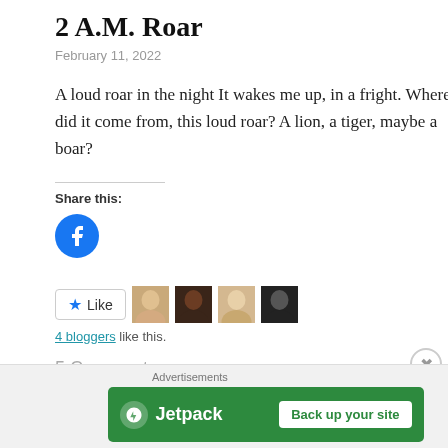2 A.M. Roar
February 11, 2022
A loud roar in the night It wakes me up, in a fright. Where did it come from, this loud roar? A lion, a tiger, maybe a boar?
Share this:
[Figure (logo): Facebook share button - blue circle with white Facebook 'f' logo]
[Figure (infographic): Like button with star icon and 4 blogger avatar thumbnails]
4 bloggers like this.
5 Comments
Advertisements
[Figure (logo): Jetpack advertisement banner - green background with Jetpack logo and 'Back up your site' button]